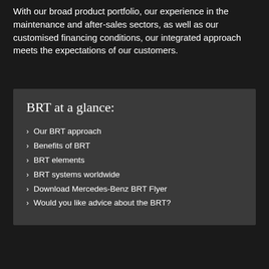With our broad product portfolio, our experience in the maintenance and after-sales sectors, as well as our customised financing conditions, our integrated approach meets the expectations of our customers.
BRT at a glance:
Our BRT approach
Benefits of BRT
BRT elements
BRT systems worldwide
Download Mercedes-Benz BRT Flyer
Would you like advice about the BRT?